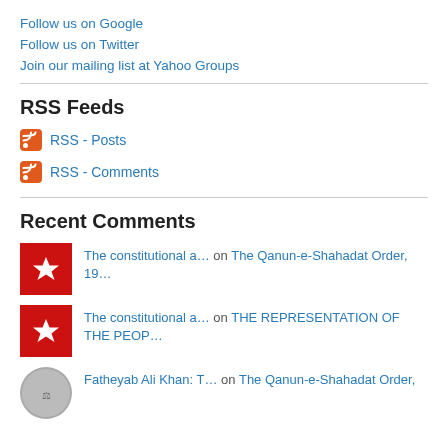Follow us on Google
Follow us on Twitter
Join our mailing list at Yahoo Groups
RSS Feeds
RSS - Posts
RSS - Comments
Recent Comments
The constitutional a… on The Qanun-e-Shahadat Order, 19…
The constitutional a… on THE REPRESENTATION OF THE PEOP…
Fatheyab Ali Khan: T… on The Qanun-e-Shahadat Order,